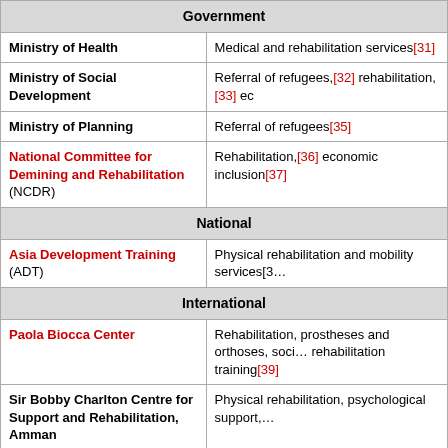| Organization | Services |
| --- | --- |
| Government |  |
| Ministry of Health | Medical and rehabilitation services[31] |
| Ministry of Social Development | Referral of refugees,[32] rehabilitation,[33] ec… |
| Ministry of Planning | Referral of refugees[35] |
| National Committee for Demining and Rehabilitation (NCDR) | Rehabilitation,[36] economic inclusion[37] |
| National |  |
| Asia Development Training (ADT) | Physical rehabilitation and mobility services[3… |
| International |  |
| Paola Biocca Center | Rehabilitation, prostheses and orthoses, soci… rehabilitation training[39] |
| Sir Bobby Charlton Centre for Support and Rehabilitation, Amman | Physical rehabilitation, psychological support,… |
| Humanity & Inclusion (HI) | Needs assessment and referral, physical reha… psychosocial support, provision of assistive de… refugees, pilot testing Washington Group que… |
| Polus Center | Physical rehabilitations, mobility devices, pro… |